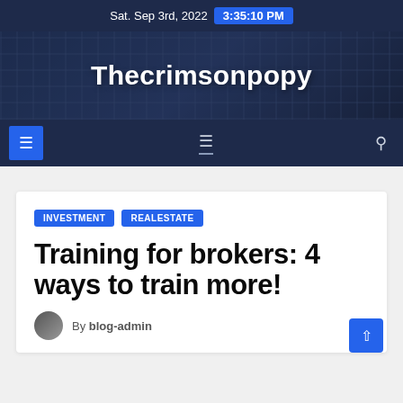Sat. Sep 3rd, 2022  3:35:10 PM
Thecrimsonpopy
INVESTMENT  REALESTATE
Training for brokers: 4 ways to train more!
By blog-admin